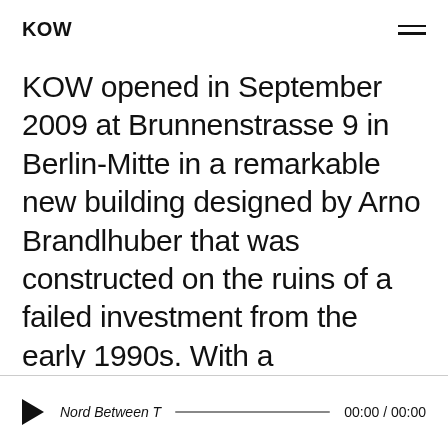KOW
KOW opened in September 2009 at Brunnenstrasse 9 in Berlin-Mitte in a remarkable new building designed by Arno Brandlhuber that was constructed on the ruins of a failed investment from the early 1990s. With a programmatic focus on the field of socially oriented art, the gallery's exhibitions as well as its curatorial formats and publications aim to address a broad international
Nord Between T  00:00 / 00:00